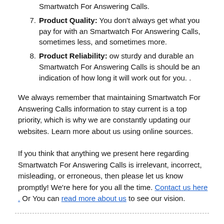Smartwatch For Answering Calls.
7. Product Quality: You don't always get what you pay for with an Smartwatch For Answering Calls, sometimes less, and sometimes more.
8. Product Reliability: ow sturdy and durable an Smartwatch For Answering Calls is should be an indication of how long it will work out for you. .
We always remember that maintaining Smartwatch For Answering Calls information to stay current is a top priority, which is why we are constantly updating our websites. Learn more about us using online sources.
If you think that anything we present here regarding Smartwatch For Answering Calls is irrelevant, incorrect, misleading, or erroneous, then please let us know promptly! We're here for you all the time. Contact us here . Or You can read more about us to see our vision.